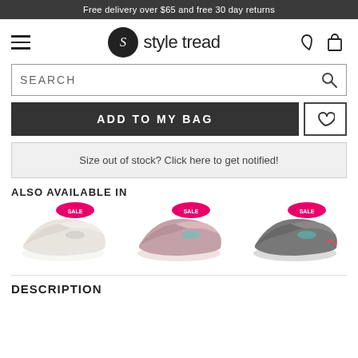Free delivery over $65 and free 30 day returns
[Figure (logo): Style Tread logo with hamburger menu, heart and bag icons]
SEARCH
ADD TO MY BAG
Size out of stock? Click here to get notified!
ALSO AVAILABLE IN
[Figure (photo): Three Skechers sneaker product images in white/cream, mauve/pink, and charcoal/coral colorways with pink sale badges]
DESCRIPTION